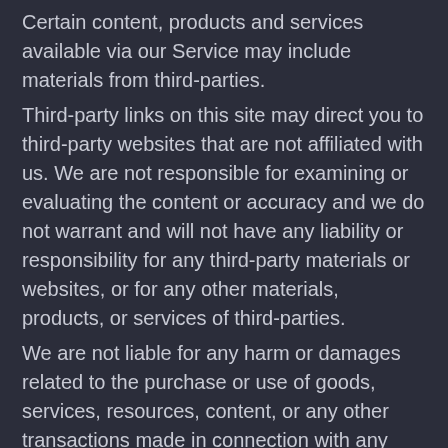Certain content, products and services available via our Service may include materials from third-parties. Third-party links on this site may direct you to third-party websites that are not affiliated with us. We are not responsible for examining or evaluating the content or accuracy and we do not warrant and will not have any liability or responsibility for any third-party materials or websites, or for any other materials, products, or services of third-parties. We are not liable for any harm or damages related to the purchase or use of goods, services, resources, content, or any other transactions made in connection with any third-party websites. Please review carefully the third-party's policies and practices and make sure you understand them before you engage in any transaction. Complaints, claims, concerns, or questions regarding third-party products should be directed to the third-party.